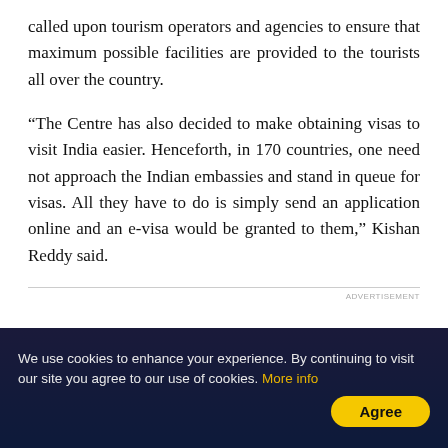called upon tourism operators and agencies to ensure that maximum possible facilities are provided to the tourists all over the country.
“The Centre has also decided to make obtaining visas to visit India easier. Henceforth, in 170 countries, one need not approach the Indian embassies and stand in queue for visas. All they have to do is simply send an application online and an e-visa would be granted to them,” Kishan Reddy said.
We use cookies to enhance your experience. By continuing to visit our site you agree to our use of cookies. More info